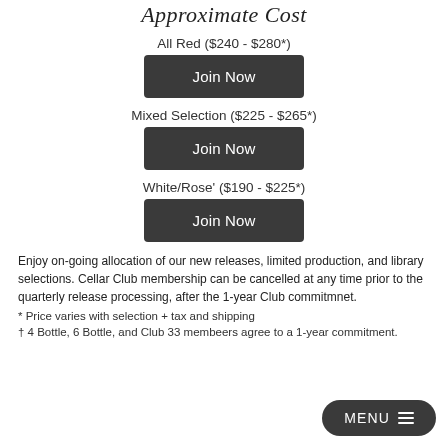Approximate Cost
All Red ($240 - $280*)
Join Now
Mixed Selection ($225 - $265*)
Join Now
White/Rose' ($190 - $225*)
Join Now
Enjoy on-going allocation of our new releases, limited production, and library selections. Cellar Club membership can be cancelled at any time prior to the quarterly release processing, after the 1-year Club commitmnet.
* Price varies with selection + tax and shipping
† 4 Bottle, 6 Bottle, and Club 33 membeers agree to a 1-year commitment.